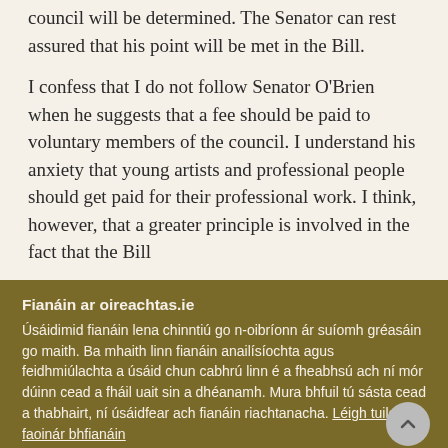council will be determined. The Senator can rest assured that his point will be met in the Bill.
I confess that I do not follow Senator O'Brien when he suggests that a fee should be paid to voluntary members of the council. I understand his anxiety that young artists and professional people should get paid for their professional work. I think, however, that a greater principle is involved in the fact that the Bill
Fianáin ar oireachtas.ie
Úsáidimid fianáin lena chinntiú go n-oibríonn ár suíomh gréasáin go maith. Ba mhaith linn fianáin anailísíochta agus feidhmiúlachta a úsáid chun cabhrú linn é a fheabhsú ach ní mór dúinn cead a fháil uait sin a dhéanamh. Mura bhfuil tú sásta cead a thabhairt, ní úsáidfear ach fianáin riachtanacha. Léigh tuileadh faoinár bhfianáin
Socraigh sainroghanna fianán
Glac leis na fianáin go léir